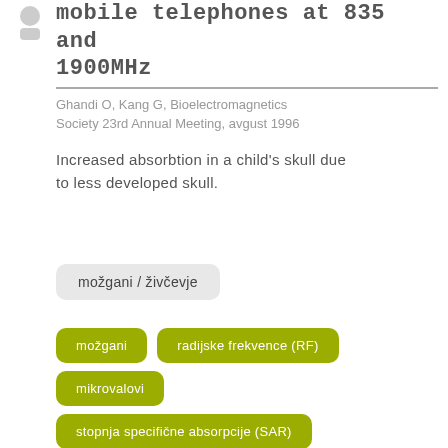[Figure (illustration): Small icon/logo in top left corner]
mobile telephones at 835 and 1900MHz
Ghandi O, Kang G, Bioelectromagnetics Society 23rd Annual Meeting, avgust 1996
Increased absorbtion in a child's skull due to less developed skull.
možgani / živčevje
možgani
radijske frekvence (RF)
mikrovalovi
stopnja specifične absorpcije (SAR)
1900 MHz
800 MHz
otroci